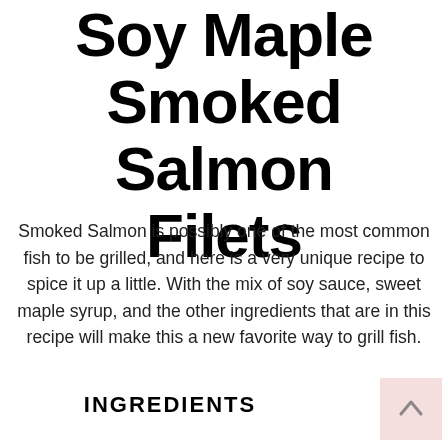Soy Maple Smoked Salmon Filets
Smoked Salmon is possibly one of the most common fish to be grilled, and here is a very unique recipe to spice it up a little. With the mix of soy sauce, sweet maple syrup, and the other ingredients that are in this recipe will make this a new favorite way to grill fish.
INGREDIENTS